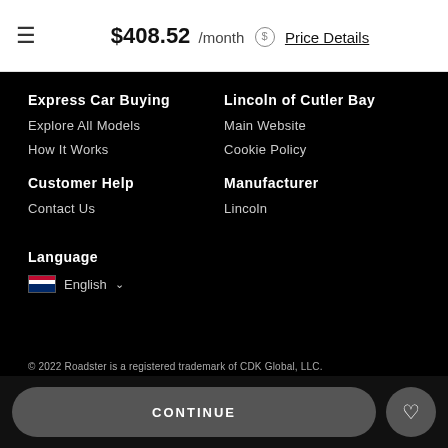$408.52 /month Price Details
Express Car Buying
Explore All Models
How It Works
Lincoln of Cutler Bay
Main Website
Cookie Policy
Customer Help
Contact Us
Manufacturer
Lincoln
Language
English
© 2022 Roadster is a registered trademark of CDK Global, LLC.
CONTINUE